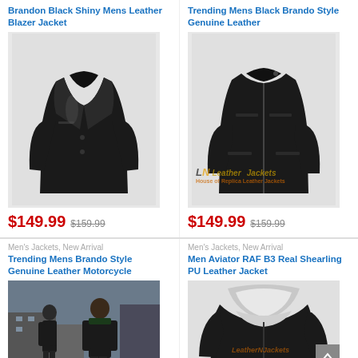Brandon Black Shiny Mens Leather Blazer Jacket
[Figure (photo): Black shiny mens leather blazer jacket product photo on white background]
$149.99 $159.99
Trending Mens Black Brando Style Genuine Leather
[Figure (photo): Trending mens black Brando style genuine leather jacket product photo with LeatherNJackets watermark]
$149.99 $159.99
Men's Jackets, New Arrival
Trending Mens Brando Style Genuine Leather Motorcycle
[Figure (photo): Two men wearing black leather motorcycle jackets in an urban street setting]
Men's Jackets, New Arrival
Men Aviator RAF B3 Real Shearling PU Leather Jacket
[Figure (photo): Black aviator RAF B3 shearling PU leather jacket with white fur collar, product photo]